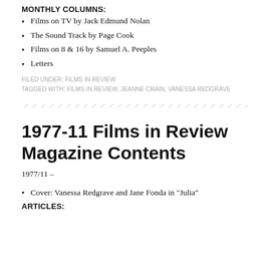MONTHLY COLUMNS:
Films on TV by Jack Edmund Nolan
The Sound Track by Page Cook
Films on 8 & 16 by Samuel A. Peeples
Letters
FILED UNDER: FILMS IN REVIEW
TAGGED WITH: FILMS IN REVIEW, JEANNE CRAIN, VANESSA REDGRAVE
[Figure (other): Diagonal hatched divider line]
1977-11 Films in Review Magazine Contents
1977/11 –
Cover: Vanessa Redgrave and Jane Fonda in "Julia"
ARTICLES: